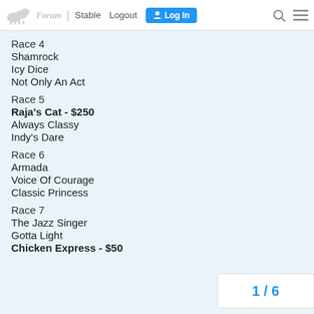Forum | Stable  Logout  Log In
Race 4
Shamrock
Icy Dice
Not Only An Act
Race 5
Raja's Cat - $250
Always Classy
Indy's Dare
Race 6
Armada
Voice Of Courage
Classic Princess
Race 7
The Jazz Singer
Gotta Light
Chicken Express - $50
1 / 6